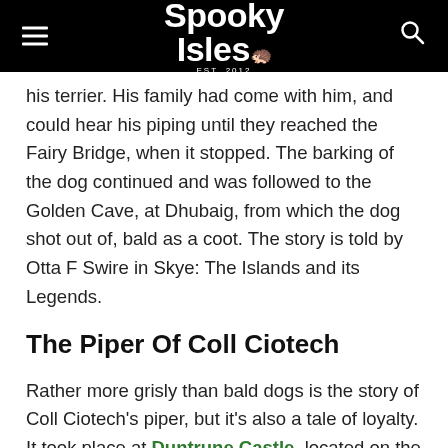Spooky Isles
his terrier. His family had come with him, and could hear his piping until they reached the Fairy Bridge, when it stopped. The barking of the dog continued and was followed to the Golden Cave, at Dhubaig, from which the dog shot out of, bald as a coot. The story is told by Otta F Swire in Skye: The Islands and its Legends.
The Piper Of Coll Ciotech
Rather more grisly than bald dogs is the story of Coll Ciotech's piper, but it's also a tale of loyalty. It took place at Duntrune Castle, located on the north side of Loch Crinan in Argyll. It's believed to be the longest continuously occupied castle in Scotland, having being built in the 12th century, now owned by Clan Malcolm. In the 17th century, it was home the Campbells. At the time, Coll Ciotech had landed in